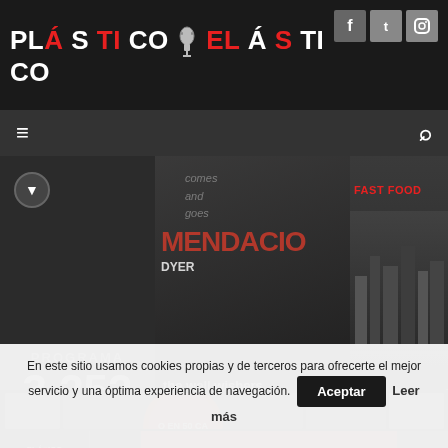[Figure (screenshot): Plástico Elástico website header with logo, social icons, navigation bar, carousel showing programa 3252, the well wishers and fast food segments, an audio player bar with browser not supported error, cookie consent banner]
PLáSTiCO eLáStiCO
PROGRAMA 3.252
the well wishers ▼ 00:01:05
fast food ▼ 00:05:00
Sorry - your browser is not supported. Please update your browser or install another such
En este sitio usamos cookies propias y de terceros para ofrecerte el mejor servicio y una óptima experiencia de navegación.
Aceptar
Leer más